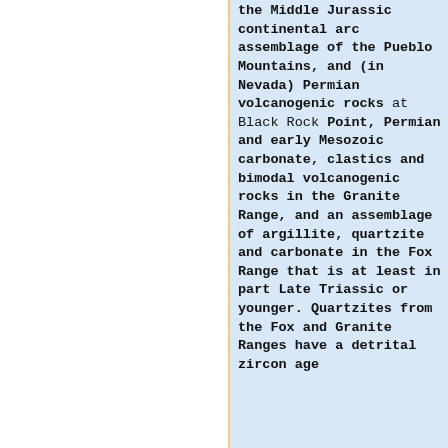the Middle Jurassic continental arc assemblage of the Pueblo Mountains, and (in Nevada) Permian volcanogenic rocks at Black Rock Point, Permian and early Mesozoic carbonate, clastics and bimodal volcanogenic rocks in the Granite Range, and an assemblage of argillite, quartzite and carbonate in the Fox Range that is at least in part Late Triassic or younger. Quartzites from the Fox and Granite Ranges have a detrital zircon age